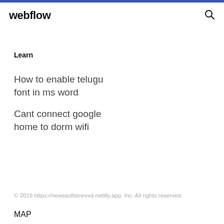webflow
Learn
How to enable telugu font in ms word
Cant connect google home to dorm wifi
© 2019 https://newssoftslnevxd.netlify.app, Inc. All rights reserved.
MAP